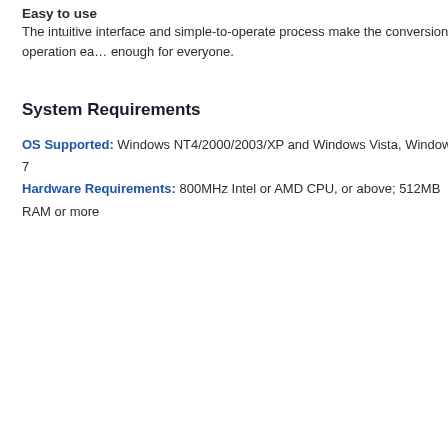Easy to use
The intuitive interface and simple-to-operate process make the conversion operation easy enough for everyone.
System Requirements
OS Supported: Windows NT4/2000/2003/XP and Windows Vista, Windows 7
Hardware Requirements: 800MHz Intel or AMD CPU, or above; 512MB RAM or more